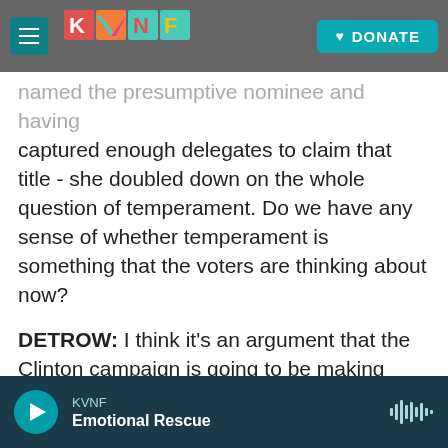[Figure (screenshot): KVNF radio website header with hamburger menu, colorful KVNF logo, and teal DONATE button on dark background]
named the presumptive nominee and having captured enough delegates to claim that title - she doubled down on the whole question of temperament. Do we have any sense of whether temperament is something that the voters are thinking about now?
DETROW: I think it's an argument that the Clinton campaign is going to be making over and over again over the next few months. You saw a bit of it in the big commercial that she announced today. And just look at their - both responses on social media to get a sense of the different approaches - Hillary Clinton being very cautious, saying we're
KVNF · Emotional Rescue